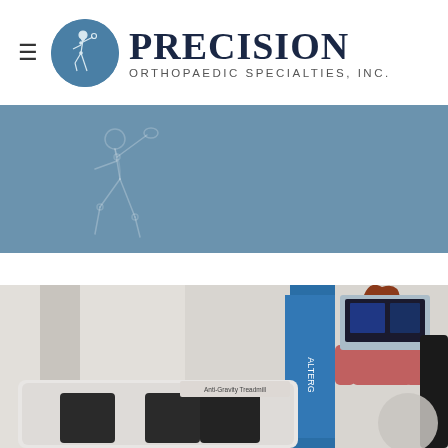[Figure (logo): Precision Orthopaedic Specialties, Inc. logo with circular emblem showing a discus thrower figure and bold company name]
[Figure (illustration): Blue banner background with faint line-art sketch of a discus thrower athlete on the left side]
[Figure (photo): Photo of a woman with red hair using an Anti-Gravity Treadmill (AlterG) in a physical therapy clinic setting]